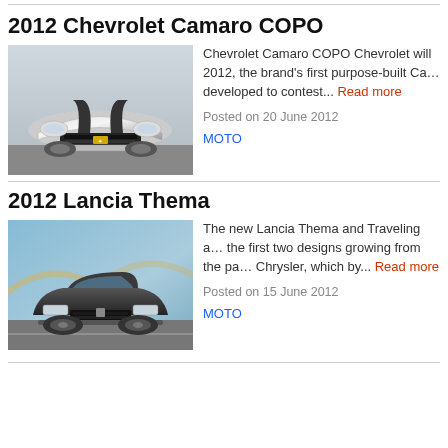2012 Chevrolet Camaro COPO
[Figure (photo): Front view of a white 2012 Chevrolet Camaro COPO with black racing stripes on the hood]
Chevrolet Camaro COPO Chevrolet will 2012, the brand's first purpose-built Ca… developed to contest... Read more
Posted on 20 June 2012
MOTO
2012 Lancia Thema
[Figure (photo): Front view of a dark/black 2012 Lancia Thema driving on a bridge road]
The new Lancia Thema and Traveling a… the first two designs growing from the pa… Chrysler, which by... Read more
Posted on 15 June 2012
MOTO